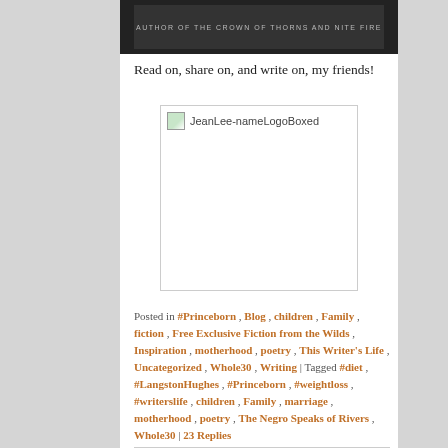[Figure (photo): Dark book cover image strip at top of content area]
Read on, share on, and write on, my friends!
[Figure (logo): JeanLee-nameLogoBoxed image placeholder in a bordered box]
Posted in #Princeborn, Blog, children, Family, fiction, Free Exclusive Fiction from the Wilds, Inspiration, motherhood, poetry, This Writer's Life, Uncategorized, Whole30, Writing | Tagged #diet, #LangstonHughes, #Princeborn, #weightloss, #writerslife, children, Family, marriage, motherhood, poetry, The Negro Speaks of Rivers, Whole30 | 23 Replies